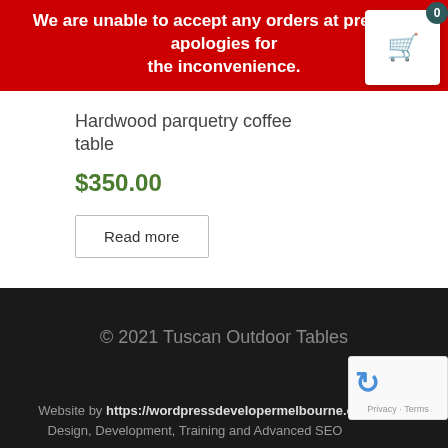We are unable to accept any orders at present - apologies for the inconvenience.
Hardwood parquetry coffee table
$350.00
Read more
© 2021 Tuscan Outdoor Tables
Website by https://wordpressdevelopermelbourne.co
Design, Development, Training and Advanced SEO